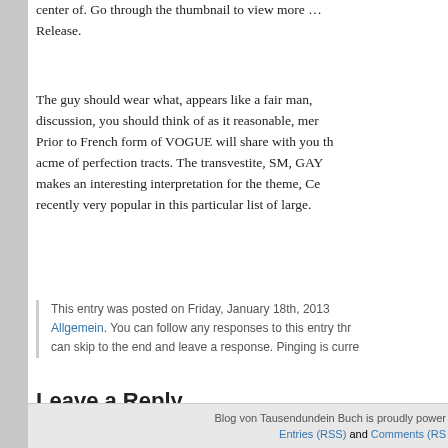center of. Go through the thumbnail to view more … Release.
The guy should wear what, appears like a fair man, discussion, you should think of as it reasonable, mer Prior to French form of VOGUE will share with you th acme of perfection tracts. The transvestite, SM, GAY makes an interesting interpretation for the theme, Ce recently very popular in this particular list of large.
This entry was posted on Friday, January 18th, 2013 Allgemein. You can follow any responses to this entry thr can skip to the end and leave a response. Pinging is curre
Leave a Reply
You must be logged in to post a comment.
Blog von Tausendundein Buch is proudly power Entries (RSS) and Comments (RS